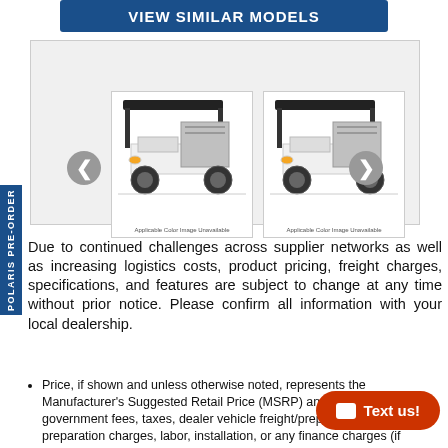VIEW SIMILAR MODELS
[Figure (photo): Two golf utility carts side by side in a carousel. Both are white with gray storage boxes and black roofs. Caption reads 'Applicable Color Image Unavailable' on each.]
Due to continued challenges across supplier networks as well as increasing logistics costs, product pricing, freight charges, specifications, and features are subject to change at any time without prior notice. Please confirm all information with your local dealership.
Price, if shown and unless otherwise noted, represents the Manufacturer's Suggested Retail Price (MSRP) and does not include government fees, taxes, dealer vehicle freight/preparation, document preparation charges, labor, installation, or any finance charges (if applicable). MSRP and/or final actual sales price will vary